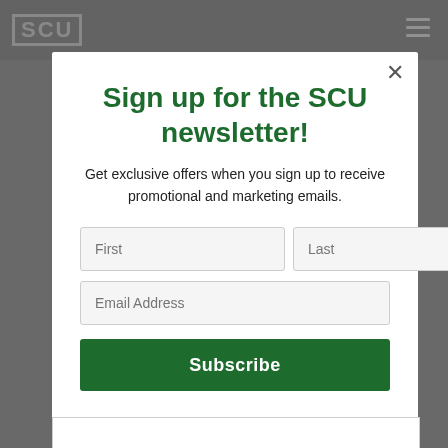SCU
Sign up for the SCU newsletter!
Get exclusive offers when you sign up to receive promotional and marketing emails.
First | Last | Email Address | Subscribe